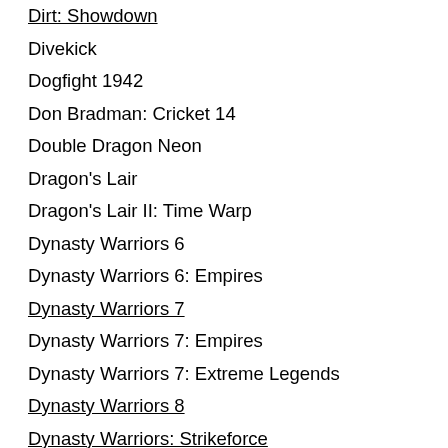Dirt: Showdown
Divekick
Dogfight 1942
Don Bradman: Cricket 14
Double Dragon Neon
Dragon's Lair
Dragon's Lair II: Time Warp
Dynasty Warriors 6
Dynasty Warriors 6: Empires
Dynasty Warriors 7
Dynasty Warriors 7: Empires
Dynasty Warriors 7: Extreme Legends
Dynasty Warriors 8
Dynasty Warriors: Strikeforce
Earth Defense Force 2025
Earth Defense Force: Insect Armageddon